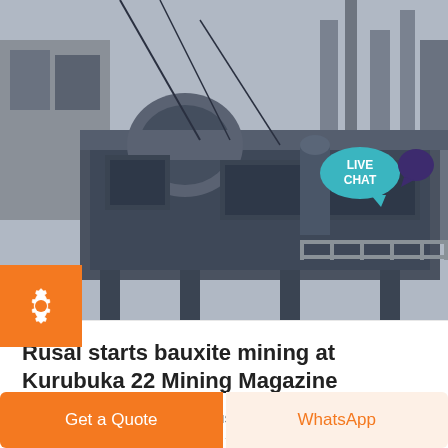[Figure (photo): Industrial mining equipment — heavy machinery with motor and conveyor structure in a factory/mine setting, grey tones]
Rusal starts bauxite mining at Kurubuka 22 Mining Magazine
Global aluminium producer Rusal has announced the start of industrial mining operations at the Kurubuka 22 deposit following the completion of the project ...
Get a Quote | WhatsApp